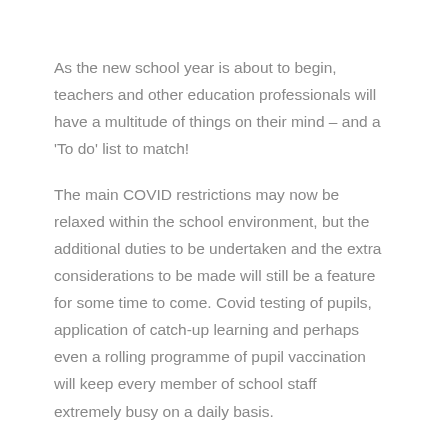As the new school year is about to begin, teachers and other education professionals will have a multitude of things on their mind – and a 'To do' list to match!
The main COVID restrictions may now be relaxed within the school environment, but the additional duties to be undertaken and the extra considerations to be made will still be a feature for some time to come. Covid testing of pupils, application of catch-up learning and perhaps even a rolling programme of pupil vaccination will keep every member of school staff extremely busy on a daily basis.